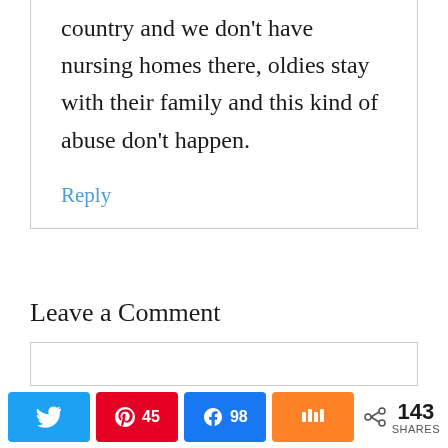country and we don’t have nursing homes there, oldies stay with their family and this kind of abuse don’t happen.
Reply
Leave a Comment
[Figure (screenshot): Social sharing bar with Twitter, Pinterest (45), Facebook (98), Mix buttons and 143 SHARES count]